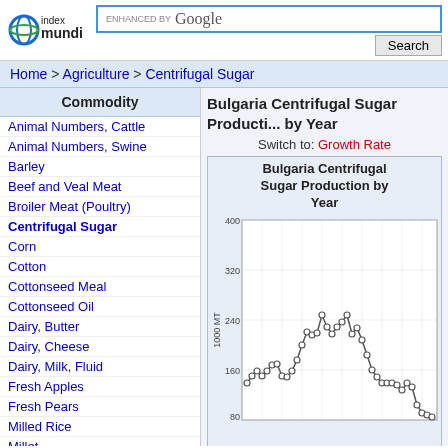[Figure (logo): Index Mundi logo with circular globe icon and text 'index mundi']
ENHANCED BY Google Search
Home > Agriculture > Centrifugal Sugar
| Commodity |
| --- |
| Animal Numbers, Cattle |
| Animal Numbers, Swine |
| Barley |
| Beef and Veal Meat |
| Broiler Meat (Poultry) |
| Centrifugal Sugar |
| Corn |
| Cotton |
| Cottonseed Meal |
| Cottonseed Oil |
| Dairy, Butter |
| Dairy, Cheese |
| Dairy, Milk, Fluid |
| Fresh Apples |
| Fresh Pears |
| Milled Rice |
| Millet |
| Oats |
Bulgaria Centrifugal Sugar Production by Year
Switch to: Growth Rate
[Figure (continuous-plot): Line chart titled 'Bulgaria Centrifugal Sugar Production by Year'. Y-axis labeled '1000 MT' with values 80, 160, 240, 320, 400. The line shows production fluctuating around 200-300 in earlier years, peaking near 320, then dropping sharply to near 0 in later years. Data points shown as open circles.]